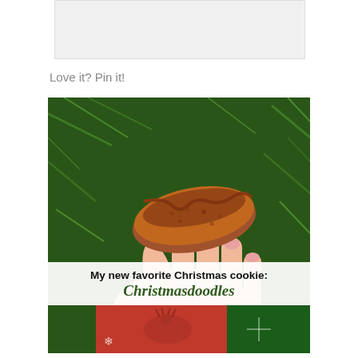[Figure (photo): Small placeholder image at the top of the page, partially visible]
Love it? Pin it!
[Figure (photo): A hand holding a broken Christmas cookie (Christmasdoodle) against a green pine tree background, with a white text overlay reading 'My new favorite Christmas cookie: Christmasdoodles'. Bottom of image shows two smaller holiday-themed images.]